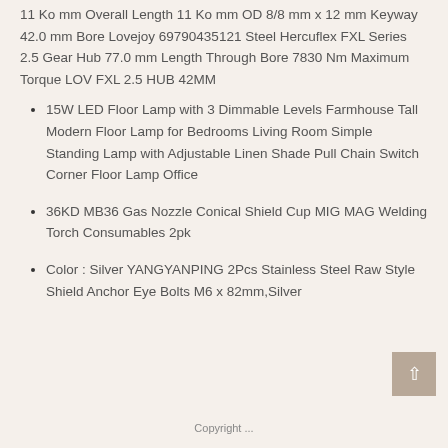11 Ko mm Overall Length 11 Ko mm OD 8/8 mm x 12 mm Keyway 42.0 mm Bore Lovejoy 69790435121 Steel Hercuflex FXL Series 2.5 Gear Hub 77.0 mm Length Through Bore 7830 Nm Maximum Torque LOV FXL 2.5 HUB 42MM
15W LED Floor Lamp with 3 Dimmable Levels Farmhouse Tall Modern Floor Lamp for Bedrooms Living Room Simple Standing Lamp with Adjustable Linen Shade Pull Chain Switch Corner Floor Lamp Office
36KD MB36 Gas Nozzle Conical Shield Cup MIG MAG Welding Torch Consumables 2pk
Color : Silver YANGYANPING 2Pcs Stainless Steel Raw Style Shield Anchor Eye Bolts M6 x 82mm,Silver
Copyright ...